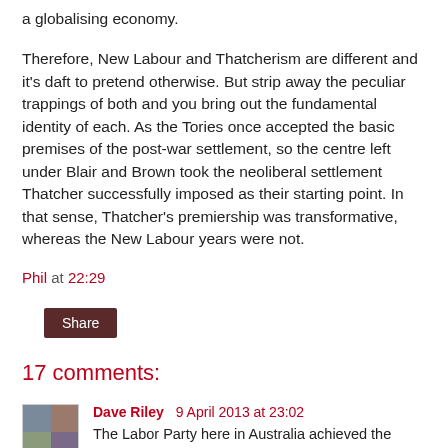a globalising economy.
Therefore, New Labour and Thatcherism are different and it's daft to pretend otherwise. But strip away the peculiar trappings of both and you bring out the fundamental identity of each. As the Tories once accepted the basic premises of the post-war settlement, so the centre left under Blair and Brown took the neoliberal settlement Thatcher successfully imposed as their starting point. In that sense, Thatcher's premiership was transformative, whereas the New Labour years were not.
Phil at 22:29
Share
17 comments:
Dave Riley 9 April 2013 at 23:02
The Labor Party here in Australia achieved the same return for the bourgeoisie during the same period but without the